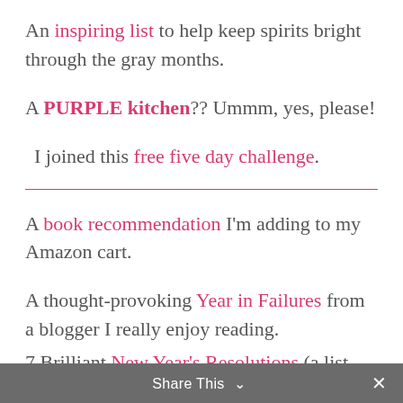An inspiring list to help keep spirits bright through the gray months.
A PURPLE kitchen?? Ummm, yes, please!
I joined this free five day challenge.
A book recommendation I'm adding to my Amazon cart.
A thought-provoking Year in Failures from a blogger I really enjoy reading.
7 Brilliant New Year's Resolutions (a list...
Share This ∨ ×